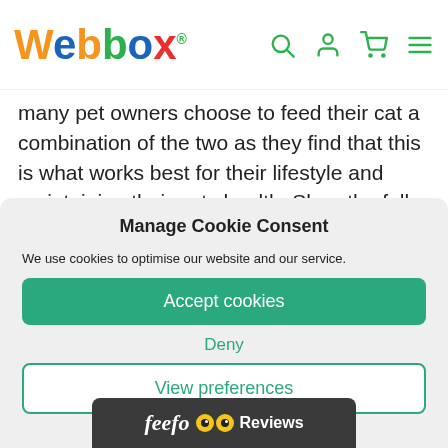Webbox® [logo with nav icons: search, account, cart, menu]
many pet owners choose to feed their cat a combination of the two as they find that this is what works best for their lifestyle and maintaining their pets health. Shop the full Webbox Naturals range for cats today while
Manage Cookie Consent
We use cookies to optimise our website and our service.
Accept cookies
Deny
View preferences
[Figure (logo): Feefo Reviews badge with two yellow eye icons on dark background]